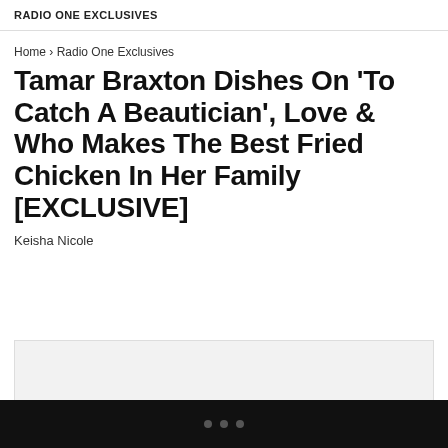RADIO ONE EXCLUSIVES
Home › Radio One Exclusives
Tamar Braxton Dishes On 'To Catch A Beautician', Love & Who Makes The Best Fried Chicken In Her Family [EXCLUSIVE]
Keisha Nicole
[Figure (other): The Beat DFW Daily Video placeholder box]
• • •